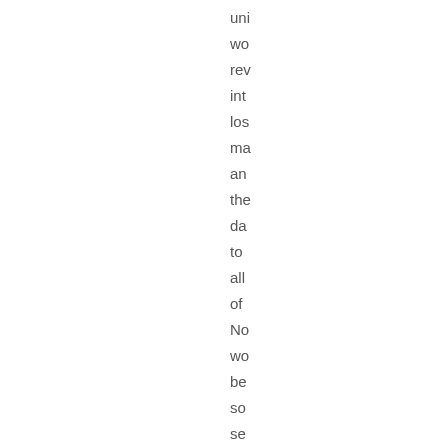uni wo rev int los ma an the da to all of No wo be so se